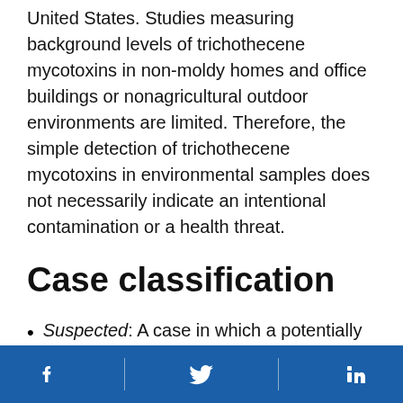United States. Studies measuring background levels of trichothecene mycotoxins in non-moldy homes and office buildings or nonagricultural outdoor environments are limited. Therefore, the simple detection of trichothecene mycotoxins in environmental samples does not necessarily indicate an intentional contamination or a health threat.
Case classification
Suspected: A case in which a potentially exposed person is being evaluated by health-care workers or public health officials for poisoning by a particular chemical agent, but no specific credible threat exists.
Probable: A clinically compatible case in which a
Facebook | Twitter | LinkedIn